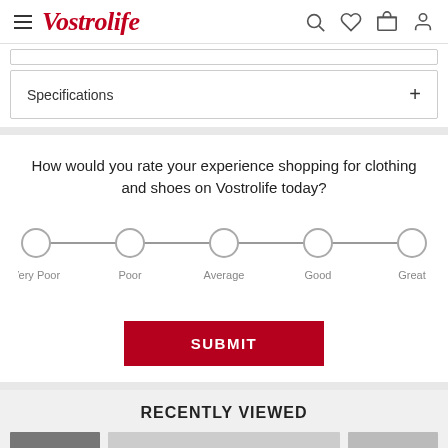Vostrolife
Specifications +
How would you rate your experience shopping for clothing and shoes on Vostrolife today?
[Figure (infographic): A 5-point rating scale with circles labeled: Very Poor, Poor, Average, Good, Great connected by a horizontal line.]
SUBMIT
RECENTLY VIEWED